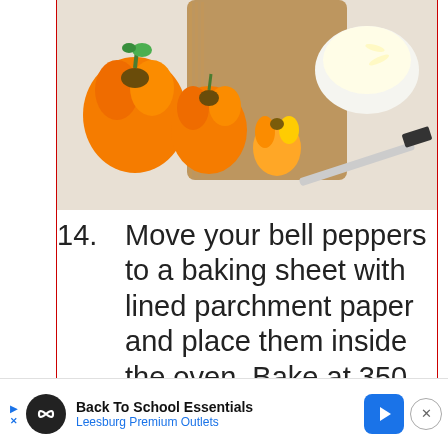[Figure (photo): Overhead view of orange bell peppers on a wooden cutting board with a bowl of shredded cheese and a knife on a light cloth background]
14. Move your bell peppers to a baking sheet with lined parchment paper and place them inside the oven. Bake at 350 °F for about 25 minutes, or until warmed through and peppers soften.
[Figure (photo): Partial view of a dish with ground meat filling, bottom of page]
[Figure (infographic): Advertisement banner: Back To School Essentials - Leesburg Premium Outlets with logo and navigation arrow]